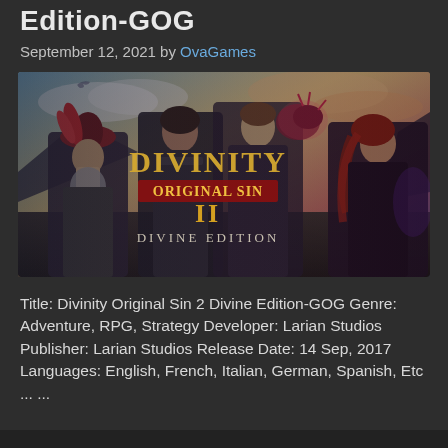Edition-GOG
September 12, 2021 by OvaGames
[Figure (photo): Divinity Original Sin II Divine Edition game cover art showing fantasy characters — a dwarf with red feathered hat, a warrior in dark armor, a female elf with glowing hand holding a creature, and a red-haired woman — with the title 'Divinity Original Sin II Divine Edition' in ornate gold and red lettering against a cloudy sky background.]
Title: Divinity Original Sin 2 Divine Edition-GOG Genre: Adventure, RPG, Strategy Developer: Larian Studios Publisher: Larian Studios Release Date: 14 Sep, 2017 Languages: English, French, Italian, German, Spanish, Etc ... ...